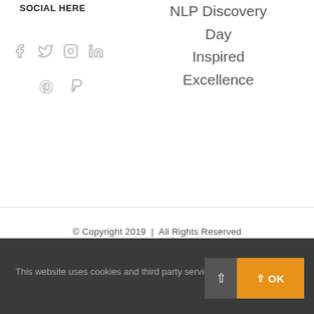SOCIAL HERE
NLP Discovery Day
Inspired
Excellence
[Figure (illustration): Social media icons: Facebook, Twitter, Instagram, LinkedIn (row 1); Pinterest, PayPal (row 2)]
© Copyright 2019  |  All Rights Reserved
This website uses cookies and third party services.
OK